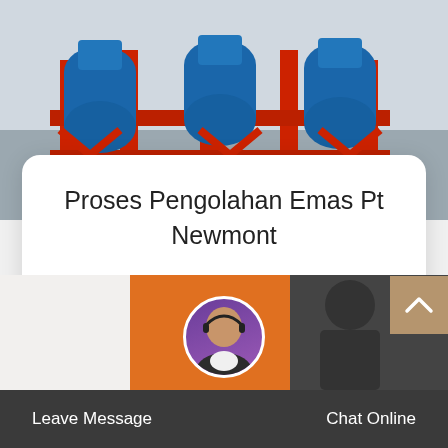[Figure (photo): Industrial machinery with red frames and blue cylindrical components, appears to be mining or processing equipment]
Proses Pengolahan Emas Pt Newmont
Jun 12, 2014 Sumbawa Barat - Seluruh kegiatan pertambangan P…
Read More >
[Figure (photo): Partial view of person with headset and orange/dark background - customer service representative]
Leave Message   Chat Online